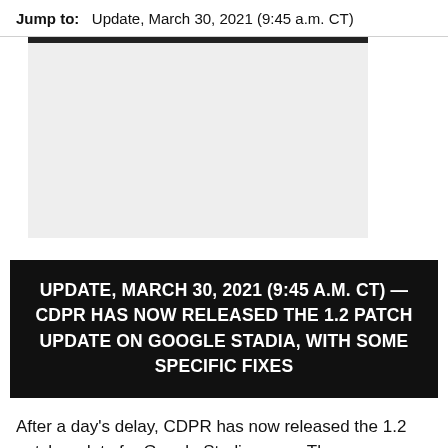Jump to:   Update, March 30, 2021 (9:45 a.m. CT)
[Figure (other): Advertisement or image placeholder — light gray rectangle with dark top bar]
UPDATE, MARCH 30, 2021 (9:45 A.M. CT) — CDPR HAS NOW RELEASED THE 1.2 PATCH UPDATE ON GOOGLE STADIA, WITH SOME SPECIFIC FIXES
After a day's delay, CDPR has now released the 1.2 patch update for Google Stadia users. There are